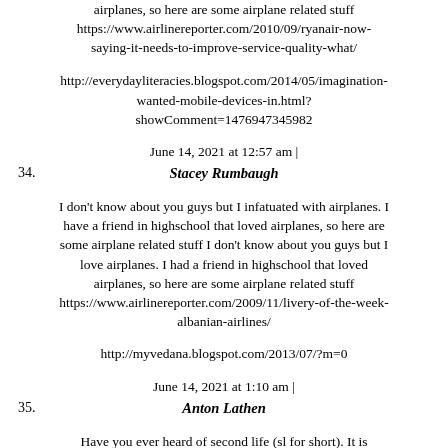airplanes, so here are some airplane related stuff https://www.airlinereporter.com/2010/09/ryanair-now-saying-it-needs-to-improve-service-quality-what/
http://everydayliteracies.blogspot.com/2014/05/imagination-wanted-mobile-devices-in.html?showComment=1476947345982
June 14, 2021 at 12:57 am |
34. Stacey Rumbaugh
I don't know about you guys but I infatuated with airplanes. I have a friend in highschool that loved airplanes, so here are some airplane related stuff I don't know about you guys but I love airplanes. I had a friend in highschool that loved airplanes, so here are some airplane related stuff https://www.airlinereporter.com/2009/11/livery-of-the-week-albanian-airlines/
http://myvedana.blogspot.com/2013/07/?m=0
June 14, 2021 at 1:10 am |
35. Anton Lathen
Have you ever heard of second life (sl for short). It is essentially a online game where you can do anything you